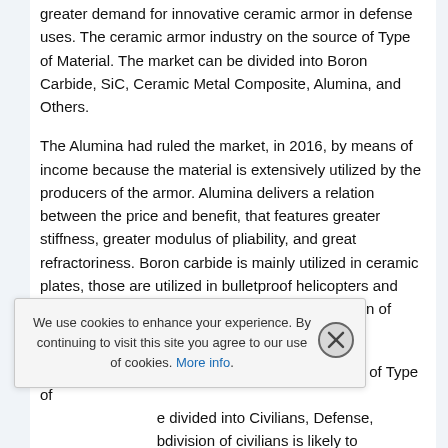greater demand for innovative ceramic armor in defense uses. The ceramic armor industry on the source of Type of Material. The market can be divided into Boron Carbide, SiC, Ceramic Metal Composite, Alumina, and Others.
The Alumina had ruled the market, in 2016, by means of income because the material is extensively utilized by the producers of the armor. Alumina delivers a relation between the price and benefit, that features greater stiffness, greater modulus of pliability, and great refractoriness. Boron carbide is mainly utilized in ceramic plates, those are utilized in bulletproof helicopters and body protective covering to defend in contradiction of lesser bullet.
The ceramic armor market on the source of Type of [application] can be divided into Civilians, Defense, [and others]. The subdivision of civilians is likely to [experience] development above the period of [forecast, as] governments of all states are bearing in mind [the] usage of body armor by private [individuals due to] domestic assaults and mass gunfire of
We use cookies to enhance your experience. By continuing to visit this site you agree to our use of cookies. More info.